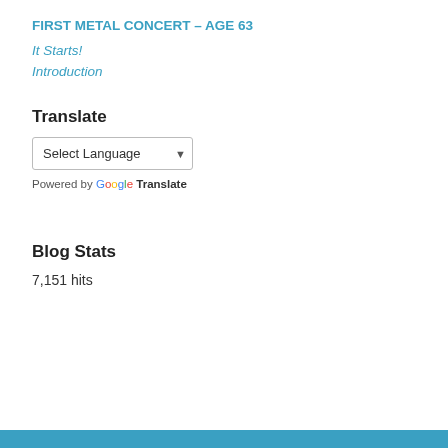FIRST METAL CONCERT – AGE 63
It Starts!
Introduction
Translate
Select Language (dropdown)
Powered by Google Translate
Blog Stats
7,151 hits